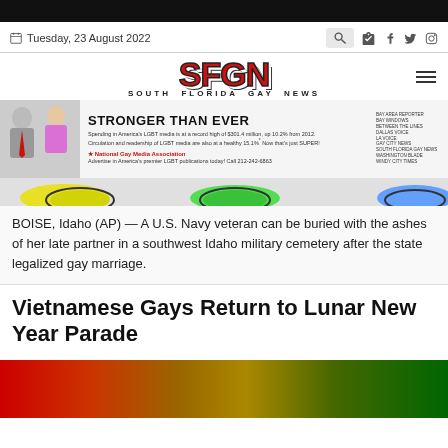Tuesday, 23 August 2022
[Figure (logo): SFGN South Florida Gay News logo in red block letters]
[Figure (infographic): National Gay Media Association advertisement banner reading STRONGER THAN EVER with colorful shapes]
BOISE, Idaho (AP) — A U.S. Navy veteran can be buried with the ashes of her late partner in a southwest Idaho military cemetery after the state legalized gay marriage.
Vietnamese Gays Return to Lunar New Year Parade
[Figure (photo): Colorful photo with red, orange, yellow, green colors — partial view at bottom of page]